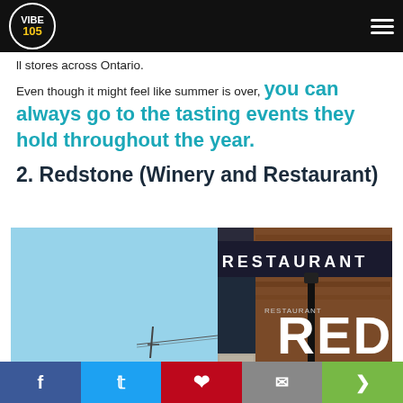Vibe 105 - navigation bar with logo and hamburger menu
ll stores across Ontario. Even though it might feel like summer is over, you can always go to the tasting events they hold throughout the year.
2. Redstone (Winery and Restaurant)
[Figure (photo): Exterior photo of Redstone Winery and Restaurant building showing their large sign with 'RESTAURANT' at top and 'RED STONE' in large letters on a rustic wooden facade, blue sky background]
Social share bar: Facebook, Twitter, Pinterest, Email, Share